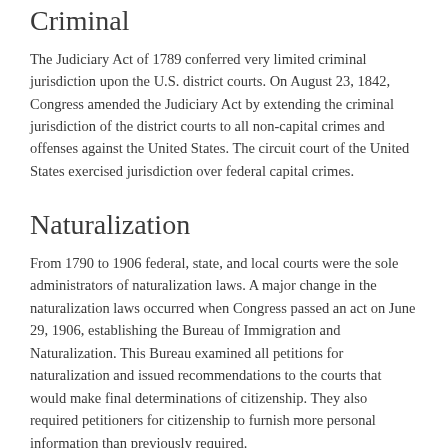Criminal
The Judiciary Act of 1789 conferred very limited criminal jurisdiction upon the U.S. district courts. On August 23, 1842, Congress amended the Judiciary Act by extending the criminal jurisdiction of the district courts to all non-capital crimes and offenses against the United States. The circuit court of the United States exercised jurisdiction over federal capital crimes.
Naturalization
From 1790 to 1906 federal, state, and local courts were the sole administrators of naturalization laws. A major change in the naturalization laws occurred when Congress passed an act on June 29, 1906, establishing the Bureau of Immigration and Naturalization. This Bureau examined all petitions for naturalization and issued recommendations to the courts that would make final determinations of citizenship. They also required petitioners for citizenship to furnish more personal information than previously required.